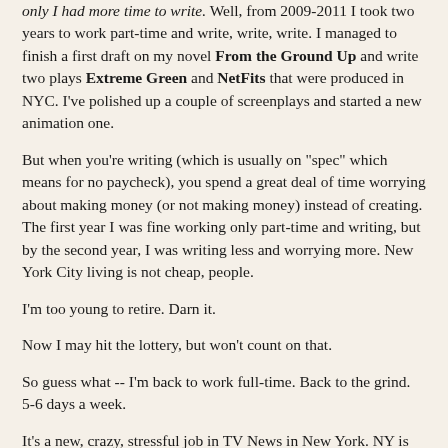only I had more time to write. Well, from 2009-2011 I took two years to work part-time and write, write, write. I managed to finish a first draft on my novel From the Ground Up and write two plays Extreme Green and NetFits that were produced in NYC. I've polished up a couple of screenplays and started a new animation one.
But when you're writing (which is usually on "spec" which means for no paycheck), you spend a great deal of time worrying about making money (or not making money) instead of creating. The first year I was fine working only part-time and writing, but by the second year, I was writing less and worrying more. New York City living is not cheap, people.
I'm too young to retire. Darn it.
Now I may hit the lottery, but won't count on that.
So guess what -- I'm back to work full-time. Back to the grind. 5-6 days a week.
It's a new, crazy, stressful job in TV News in New York. NY is the